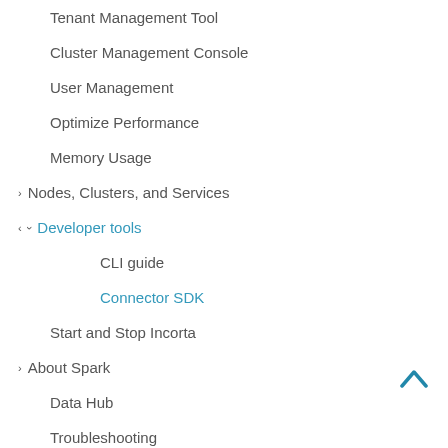Tenant Management Tool
Cluster Management Console
User Management
Optimize Performance
Memory Usage
Nodes, Clusters, and Services
Developer tools
CLI guide
Connector SDK
Start and Stop Incorta
About Spark
Data Hub
Troubleshooting
Monitoring
Run Incorta in the Cloud
Build Solutions with Incorta Analytics